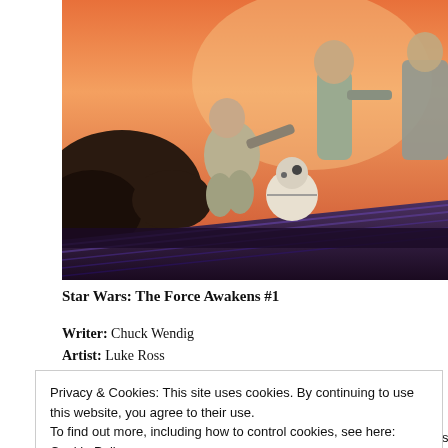[Figure (illustration): Partial comic book cover illustration showing figures in action poses on a boat or vessel with a purple/dark hull, set against an orange and pink sky background. Figures appear to be Star Wars characters including what looks like Han Solo and others, with a round white droid (BB-8 style). Rocky formations visible on left.]
Star Wars: The Force Awakens #1
Writer: Chuck Wendig
Artist: Luke Ross
Privacy & Cookies: This site uses cookies. By continuing to use this website, you agree to their use.
To find out more, including how to control cookies, see here: Cookie Policy
boil down the essential elements of the movie into a super condensed version tha...